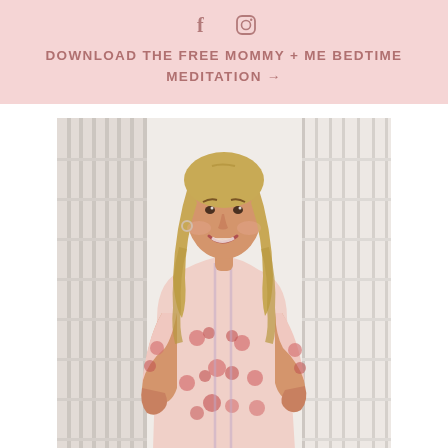[Figure (other): Social media icons: Facebook (f) and Instagram (camera icon) in muted rose/burgundy color on light pink background]
DOWNLOAD THE FREE MOMMY + ME BEDTIME MEDITATION →
[Figure (photo): A smiling blonde woman with long wavy hair wearing a pink and red floral long-sleeve dress, standing with hands on hips in front of white shutters/doors]